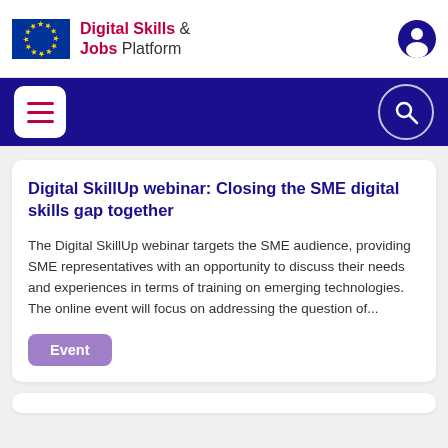Digital Skills & Jobs Platform
Digital SkillUp webinar: Closing the SME digital skills gap together
The Digital SkillUp webinar targets the SME audience, providing SME representatives with an opportunity to discuss their needs and experiences in terms of training on emerging technologies. The online event will focus on addressing the question of...
Event